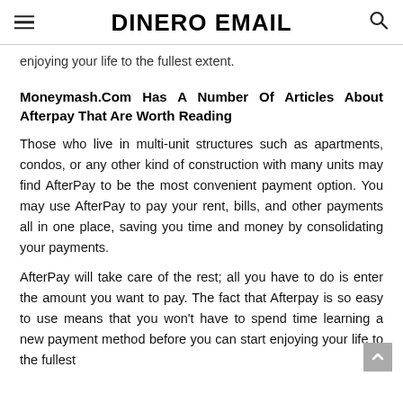DINERO EMAIL
enjoying your life to the fullest extent.
Moneymash.Com Has A Number Of Articles About Afterpay That Are Worth Reading
Those who live in multi-unit structures such as apartments, condos, or any other kind of construction with many units may find AfterPay to be the most convenient payment option. You may use AfterPay to pay your rent, bills, and other payments all in one place, saving you time and money by consolidating your payments.
AfterPay will take care of the rest; all you have to do is enter the amount you want to pay. The fact that Afterpay is so easy to use means that you won't have to spend time learning a new payment method before you can start enjoying your life to the fullest